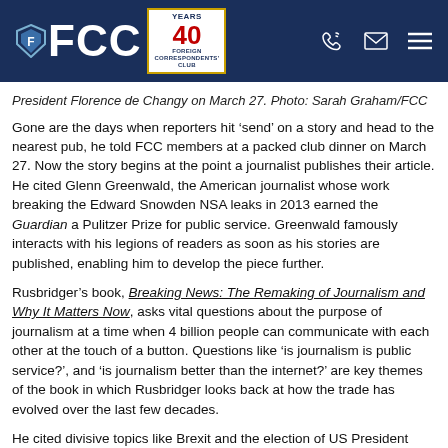FCC
President Florence de Changy on March 27. Photo: Sarah Graham/FCC
Gone are the days when reporters hit ‘send’ on a story and head to the nearest pub, he told FCC members at a packed club dinner on March 27. Now the story begins at the point a journalist publishes their article. He cited Glenn Greenwald, the American journalist whose work breaking the Edward Snowden NSA leaks in 2013 earned the Guardian a Pulitzer Prize for public service. Greenwald famously interacts with his legions of readers as soon as his stories are published, enabling him to develop the piece further.
Rusbridger’s book, Breaking News: The Remaking of Journalism and Why It Matters Now, asks vital questions about the purpose of journalism at a time when 4 billion people can communicate with each other at the touch of a button. Questions like ‘is journalism is public service?’, and ‘is journalism better than the internet?’ are key themes of the book in which Rusbridger looks back at how the trade has evolved over the last few decades.
He cited divisive topics like Brexit and the election of US President Donald Trump as having had an impact – largely negative – on the way news organisations approached stories. He spoke of the “bullying rhetoric from some” of the British press during the lead...